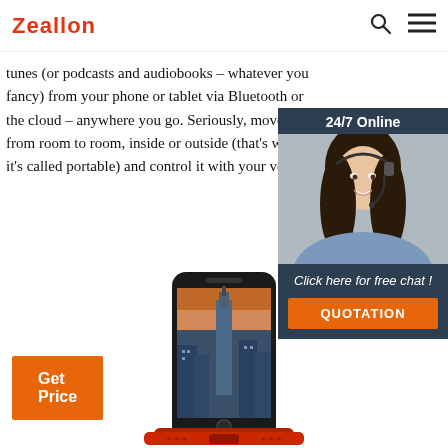Zeallon
tunes (or podcasts and audiobooks – whatever you fancy) from your phone or tablet via Bluetooth or the cloud – anywhere you go. Seriously, move it from room to room, inside or outside (that's when it's called portable) and control it with your voice.
Get Price
[Figure (photo): 24/7 Online chat widget showing a female customer service agent wearing a headset, with 'Click here for free chat!' text and a QUOTATION button]
[Figure (photo): Smartphone displaying a cityscape photo (Empire State Building at dusk), mounted on a portable Bluetooth speaker dock]